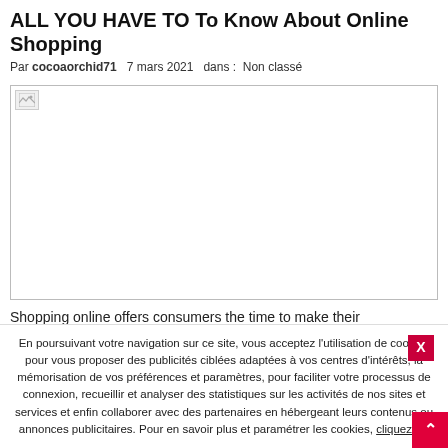ALL YOU HAVE TO To Know About Online Shopping
Par cocoaorchid71   7 mars 2021   dans :  Non classé
[Figure (photo): Broken/missing image placeholder with small icon in top-left corner, large white/empty area]
Shopping online offers consumers the time to make their
En poursuivant votre navigation sur ce site, vous acceptez l'utilisation de cookies pour vous proposer des publicités ciblées adaptées à vos centres d'intérêts, la mémorisation de vos préférences et paramètres, pour faciliter votre processus de connexion, recueillir et analyser des statistiques sur les activités de nos sites et services et enfin collaborer avec des partenaires en hébergeant leurs contenus ou annonces publicitaires. Pour en savoir plus et paramétrer les cookies, cliquez ici.